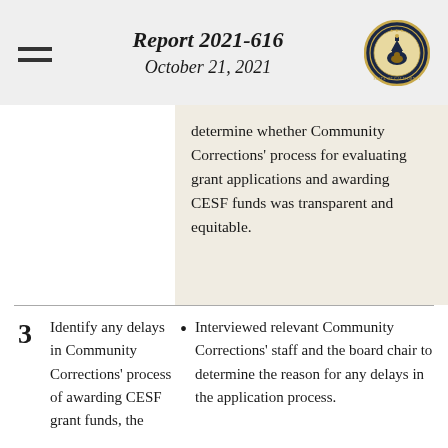Report 2021-616 October 21, 2021
determine whether Community Corrections' process for evaluating grant applications and awarding CESF funds was transparent and equitable.
3  Identify any delays in Community Corrections' process of awarding CESF grant funds, the
Interviewed relevant Community Corrections' staff and the board chair to determine the reason for any delays in the application process.